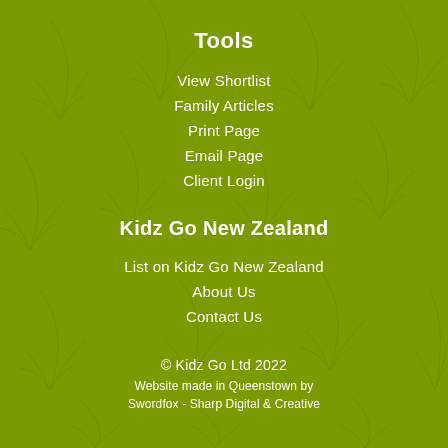Tools
View Shortlist
Family Articles
Print Page
Email Page
Client Login
Kidz Go New Zealand
List on Kidz Go New Zealand
About Us
Contact Us
© Kidz Go Ltd 2022
Website made in Queenstown by
Swordfox - Sharp Digital & Creative